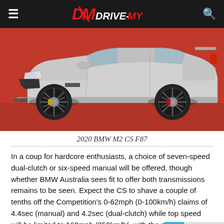DRIVE-MY
[Figure (photo): Side profile of a silver 2020 BMW M2 CS F87 on a red background. The car has black alloy wheels with gold brake calipers and a sporty aerodynamic body kit.]
2020 BMW M2 CS F87
In a coup for hardcore enthusiasts, a choice of seven-speed dual-clutch or six-speed manual will be offered, though whether BMW Australia sees fit to offer both transmissions remains to be seen. Expect the CS to shave a couple of tenths off the Competition's 0-62mph (0-100km/h) claims of 4.4sec (manual) and 4.2sec (dual-clutch) while top speed will be limited to 160mph (250km/h(, with the potential for a 280km/h V-max if the M Driver's Package is optioned.